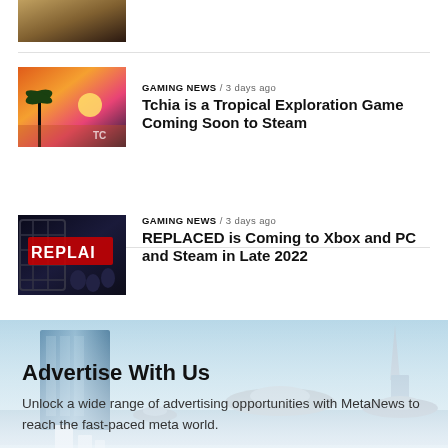[Figure (photo): Top partial thumbnail of a game scene]
[Figure (photo): Thumbnail for Tchia tropical exploration game with sunset and palm trees]
GAMING NEWS / 3 days ago
Tchia is a Tropical Exploration Game Coming Soon to Steam
[Figure (photo): Thumbnail for REPLACED game showing red neon text REPLACED and cyberpunk scene]
GAMING NEWS / 3 days ago
REPLACED is Coming to Xbox and PC and Steam in Late 2022
[Figure (illustration): Futuristic city banner with blue sky, modern buildings and flying vehicles]
Advertise With Us
Unlock a wide range of advertising opportunities with MetaNews to reach the fast-paced meta world.